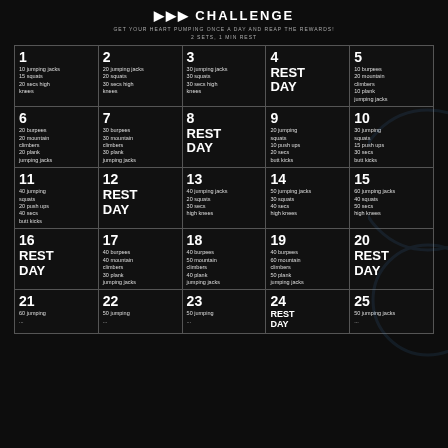CHALLENGE
GET YOUR HEART PUMPING ONCE A DAY AND REAP THE REWARDS!
2 SETS, 1 MIN REST
| DAY 1 | DAY 2 | DAY 3 | DAY 4 | DAY 5 |
| --- | --- | --- | --- | --- |
| 1
10 jumping jacks
15 squats
20 secs high knees | 2
20 jumping jacks
20 squats
30 secs high knees | 3
30 jumping jacks
30 squats
30 secs high knees | 4
REST DAY | 5
10 burpees
20 mountain climbers
10 plank jumping jacks |
| 6
20 burpees
20 mountain climbers
20 plank jumping jacks | 7
30 burpees
30 mountain climbers
30 plank jumping jacks | 8
REST DAY | 9
20 jumping squats
10 push ups
20 secs butt kicks | 10
30 jumping squats
15 push ups
30 secs butt kicks |
| 11
40 jumping squats
20 push ups
40 secs butt kicks | 12
REST DAY | 13
40 jumping jacks
20 squats
30 secs high knees | 14
50 jumping jacks
30 squats
40 secs high knees | 15
60 jumping jacks
40 squats
50 secs high knees |
| 16
REST DAY | 17
40 burpees
40 mountain climbers
30 plank jumping jacks | 18
40 burpees
50 mountain climbers
40 plank jumping jacks | 19
40 burpees
60 mountain climbers
50 plank jumping jacks | 20
REST DAY |
| 21
60 jumping... | 22
50 jumping... | 23
50 jumping... | 24
REST DAY... | 25
50 jumping jacks... |